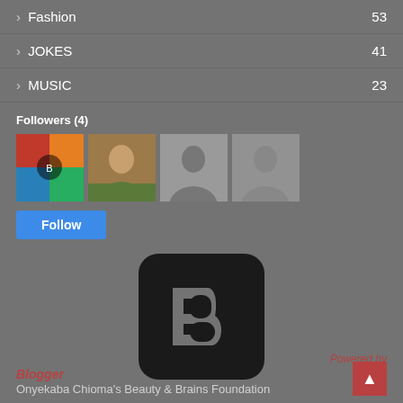› Fashion 53
› JOKES 41
› MUSIC 23
Followers (4)
[Figure (photo): Four follower avatars: one colorful graphic, one photo of a man, two grey silhouette placeholders]
[Figure (logo): Blogger logo: black rounded square with grey B letter shape in center]
Powered by
Blogger
Onyekaba Chioma's Beauty & Brains Foundation